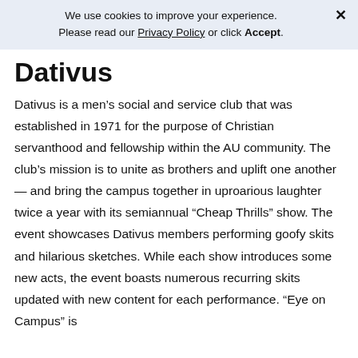We use cookies to improve your experience. Please read our Privacy Policy or click Accept.
Dativus
Dativus is a men's social and service club that was established in 1971 for the purpose of Christian servanthood and fellowship within the AU community. The club's mission is to unite as brothers and uplift one another — and bring the campus together in uproarious laughter twice a year with its semiannual “Cheap Thrills” show. The event showcases Dativus members performing goofy skits and hilarious sketches. While each show introduces some new acts, the event boasts numerous recurring skits updated with new content for each performance. “Eye on Campus” is